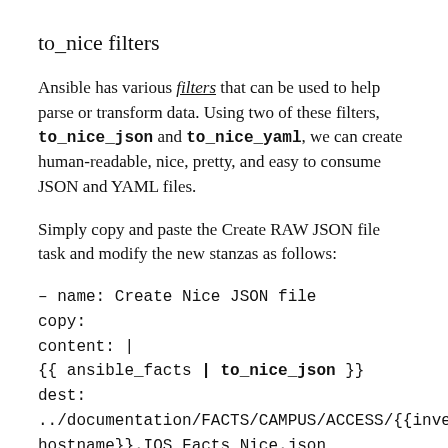to_nice filters
Ansible has various filters that can be used to help parse or transform data. Using two of these filters, to_nice_json and to_nice_yaml, we can create human-readable, nice, pretty, and easy to consume JSON and YAML files.
Simply copy and paste the Create RAW JSON file task and modify the new stanzas as follows:
– name: Create Nice JSON file
copy:
content: |
{{ ansible_facts | to_nice_json }}
dest:
../documentation/FACTS/CAMPUS/ACCESS/{{inventory_hostname}}.IOS_Facts_Nice.json